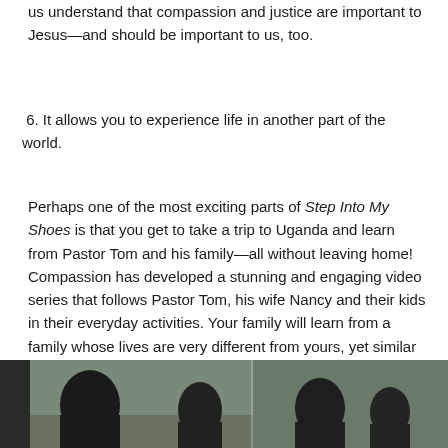us understand that compassion and justice are important to Jesus—and should be important to us, too.
6. It allows you to experience life in another part of the world.
Perhaps one of the most exciting parts of Step Into My Shoes is that you get to take a trip to Uganda and learn from Pastor Tom and his family—all without leaving home! Compassion has developed a stunning and engaging video series that follows Pastor Tom, his wife Nancy and their kids in their everyday activities. Your family will learn from a family whose lives are very different from yours, yet similar in so many ways.
[Figure (photo): A photograph of people outdoors, appearing to show a family or group of individuals in Uganda, with buildings and trees visible in the background.]